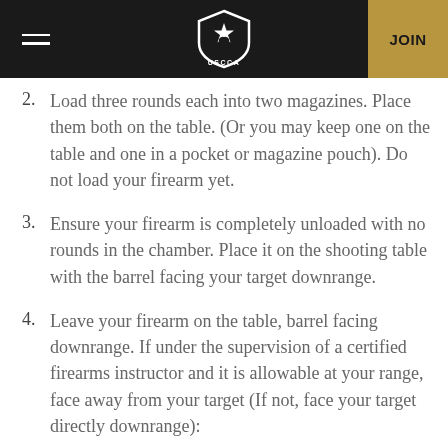[Figure (logo): USCCA logo — shield with horse and star, white on dark background, with USCCA text below]
2. Load three rounds each into two magazines. Place them both on the table. (Or you may keep one on the table and one in a pocket or magazine pouch). Do not load your firearm yet.
3. Ensure your firearm is completely unloaded with no rounds in the chamber. Place it on the shooting table with the barrel facing your target downrange.
4. Leave your firearm on the table, barrel facing downrange. If under the supervision of a certified firearms instructor and it is allowable at your range, face away from your target (If not, face your target directly downrange):